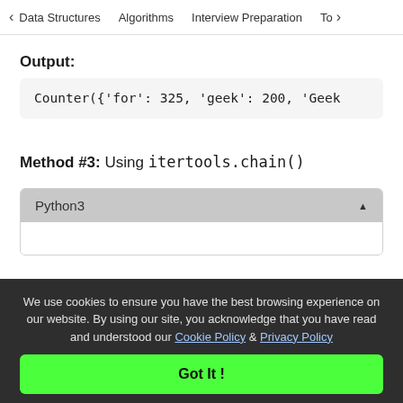< Data Structures   Algorithms   Interview Preparation   To>
Output:
Counter({'for': 325, 'geek': 200, 'Geek
Method #3: Using itertools.chain()
Python3
We use cookies to ensure you have the best browsing experience on our website. By using our site, you acknowledge that you have read and understood our Cookie Policy & Privacy Policy
Got It !